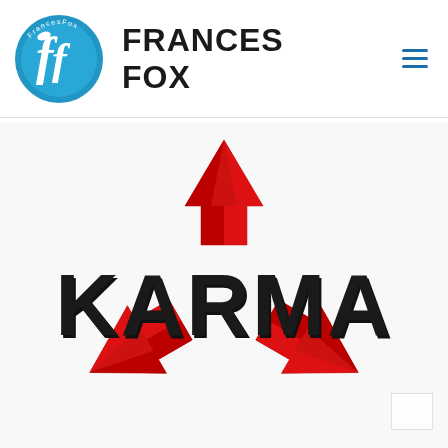[Figure (logo): FrancesFox circular logo with stylized ff letters on blue circle with FrancesFox text around the border]
FRANCES FOX
[Figure (illustration): Red 3D recycling symbol with the word KARMA in large bold black 3D letters overlaid on it]